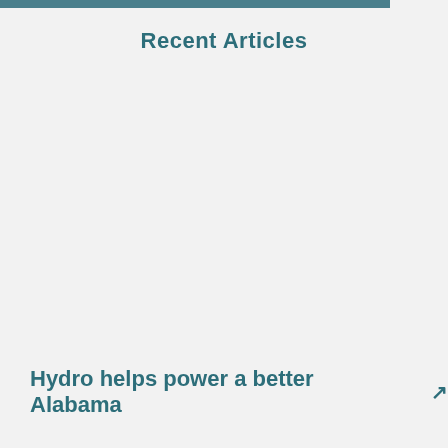Recent Articles
[Figure (other): Navigation carousel with left arrow button (grey square) and right arrow button (grey square) for browsing recent articles]
Hydro helps power a better Alabama ↗